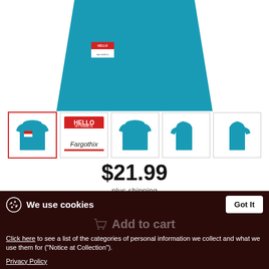[Figure (photo): Teal/turquoise t-shirt close-up product photo showing front torso area with a small name tag graphic on the left chest]
[Figure (photo): Thumbnail 1 (selected): teal t-shirt front view with small name tag]
[Figure (photo): Thumbnail 2: HELLO my name is Fargothix name tag graphic close-up]
[Figure (photo): Thumbnail 3: teal t-shirt front full view]
[Figure (photo): Thumbnail 4: teal t-shirt side/sleeve view]
[Figure (photo): Thumbnail 5: teal t-shirt back/side view]
$21.99
plus shipping
We use cookies
Got It
Add to cart
Click here to see a list of the categories of personal information we collect and what we use them for ("Notice at Collection").
Privacy Policy
Do Not Sell My Personal Information
By using this website, I agree to the Terms and Conditions